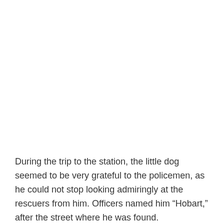During the trip to the station, the little dog seemed to be very grateful to the policemen, as he could not stop looking admiringly at the rescuers from him. Officers named him “Hobart,” after the street where he was found.